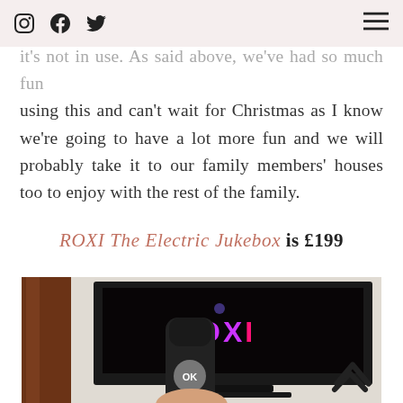[Instagram] [Facebook] [Twitter] [Menu]
it's not in use. As said above, we've had so much fun using this and can't wait for Christmas as I know we're going to have a lot more fun and we will probably take it to our family members' houses too to enjoy with the rest of the family.
ROXI The Electric Jukebox is £199
[Figure (photo): A person holding a ROXI Electric Jukebox remote control in front of a TV displaying the ROXI logo on screen. A dark wooden furniture piece is visible on the left side of the image.]